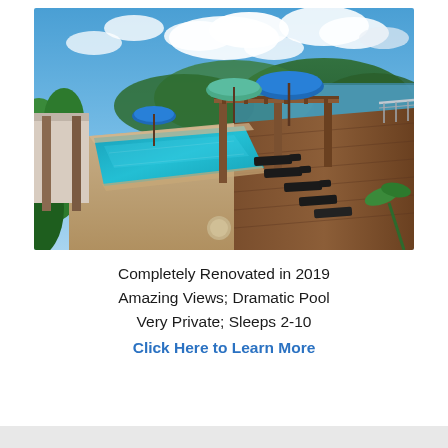[Figure (photo): Aerial/elevated view of a luxury villa with a long rectangular lap pool on a wooden deck, surrounded by tropical vegetation, lounge chairs, a pergola with blue and green umbrellas, and an ocean/bay view in the background under a partly cloudy sky.]
Completely Renovated in 2019
Amazing Views; Dramatic Pool
Very Private; Sleeps 2-10
Click Here to Learn More